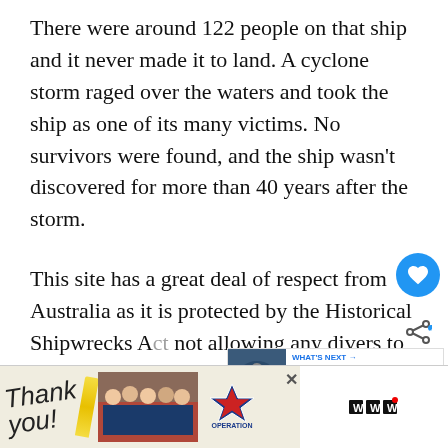There were around 122 people on that ship and it never made it to land. A cyclone storm raged over the waters and took the ship as one of its many victims. No survivors were found, and the ship wasn't discovered for more than 40 years after the storm.
This site has a great deal of respect from Australia as it is protected by the Historical Shipwrecks Act not allowing any divers to enter or explore its remains. Able to view it from the outside, divers will not only get to see this massive beauty but will be able to see an array of sea life including marks.
[Figure (screenshot): UI overlay with heart/like button (blue circle), share button, and a 'WHAT'S NEXT' card showing 'Why do Scuba Divers Asce...' with a thumbnail of scuba divers]
[Figure (photo): Advertisement banner at the bottom: left side shows 'Thank you!' handwritten text with a group photo of people in uniform (firefighters) and Operation Gratitude logo with American flag star; right side shows CNN/streaming logo]